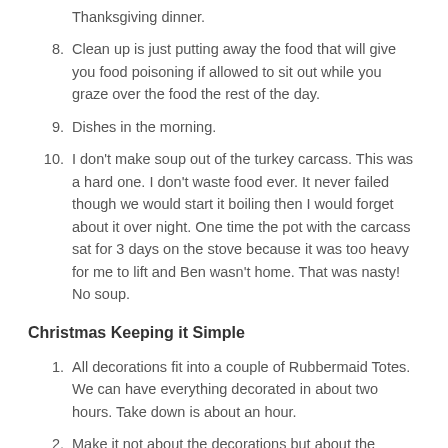Thanksgiving dinner.
8. Clean up is just putting away the food that will give you food poisoning if allowed to sit out while you graze over the food the rest of the day.
9. Dishes in the morning.
10. I don't make soup out of the turkey carcass. This was a hard one. I don't waste food ever. It never failed though we would start it boiling then I would forget about it over night. One time the pot with the carcass sat for 3 days on the stove because it was too heavy for me to lift and Ben wasn't home. That was nasty! No soup.
Christmas Keeping it Simple
1. All decorations fit into a couple of Rubbermaid Totes. We can have everything decorated in about two hours. Take down is about an hour.
2. Make it not about the decorations but about the traditions. We have a great selection of